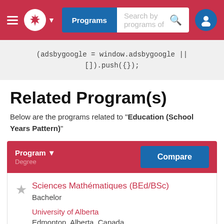[Figure (screenshot): Navigation bar with hamburger menu, Canadian maple leaf logo, Programs button, search bar, and user icon on red background]
(adsbygoogle = window.adsbygoogle || []).push({});
Related Program(s)
Below are the programs related to "Education (School Years Pattern)"
| Program / Degree | Compare |
| --- | --- |
| Sciences Mathématiques (BEd/BSc)
Bachelor
University of Alberta
Edmonton, Alberta, Canada
Tuition: $27,540 | Compare |